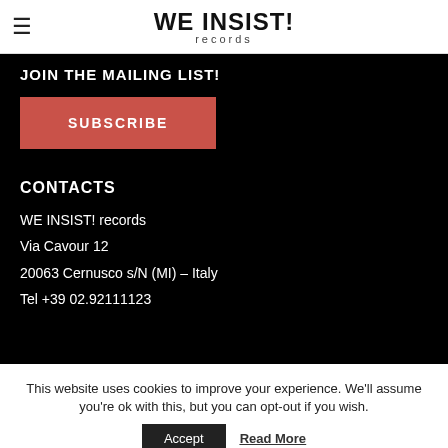WE INSIST! records
JOIN THE MAILING LIST!
SUBSCRIBE
CONTACTS
WE INSIST! records
Via Cavour 12
20063 Cernusco s/N (MI) – Italy
Tel +39 02.92111123
This website uses cookies to improve your experience. We'll assume you're ok with this, but you can opt-out if you wish.
Accept
Read More